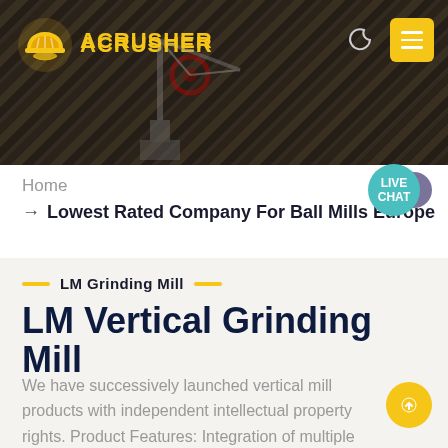[Figure (photo): Dark mining/quarry scene hero image with heavy industrial machinery and rock face background. Company logo 'ACRUSHER' with golden icon on top left. Moon icon and yellow hamburger menu button top right. Teal 'LIVE CHAT' circular bubble bottom right of header.]
ACRUSHER
Home
→ Lowest Rated Company For Ball Mills Europe
LM Grinding Mill
LM Vertical Grinding Mill
We have successively launched vertical mill products with independent intellectual property rights. Product Features: Integration of multiple functions, more stable and reliable production and more excellent capacity